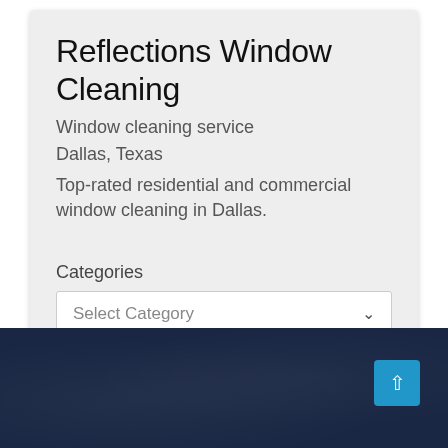Reflections Window Cleaning
Window cleaning service
Dallas, Texas
Top-rated residential and commercial window cleaning in Dallas.
Categories
Select Category
[Figure (screenshot): Dark blue footer section with scroll-to-top button]